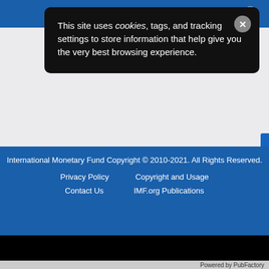[Figure (screenshot): IMF website navigation bar with hamburger menu and search icon on blue background]
This site uses cookies, tags, and tracking settings to store information that help give you the very best browsing experience.
International Monetary Fund Copyright © 2010-2021. All Rights Reserved.
Privacy Policy   Copyright and Usage
Contact Us   IMF.org Publications
Powered by PubFactory